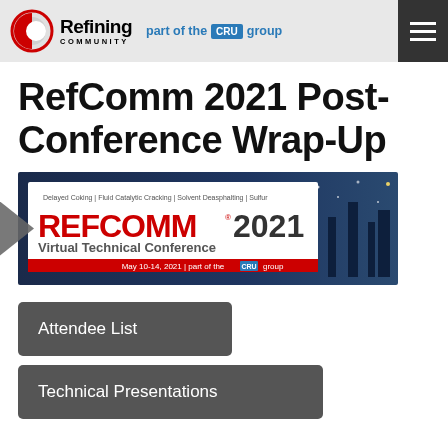Refining Community — part of the CRU group
RefComm 2021 Post-Conference Wrap-Up
[Figure (illustration): RefComm 2021 Virtual Technical Conference banner image showing: Delayed Coking | Fluid Catalytic Cracking | Solvent Deasphalting | Sulfur. REFCOMM 2021 Virtual Technical Conference. May 10-14, 2021 | part of the CRU group. Background shows industrial refinery at night.]
Attendee List
Technical Presentations